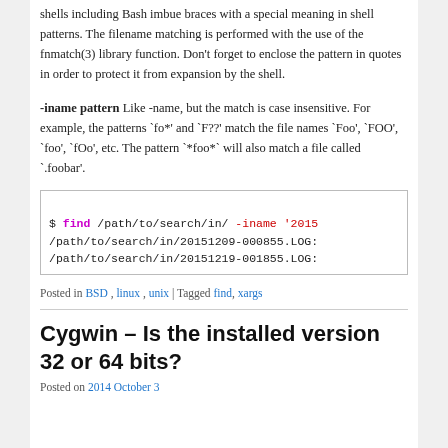shells including Bash imbue braces with a special meaning in shell patterns. The filename matching is performed with the use of the fnmatch(3) library function. Don't forget to enclose the pattern in quotes in order to protect it from expansion by the shell.
-iname pattern Like -name, but the match is case insensitive. For example, the patterns `fo*' and `F??' match the file names `Foo', `FOO', `foo', `fOo', etc. The pattern `*foo*' will also match a file called `.foobar'.
[Figure (screenshot): Terminal code block showing: $ find /path/to/search/in/ -iname '2015 /path/to/search/in/20151209-000855.LOG: /path/to/search/in/20151219-001855.LOG:]
Posted in BSD, linux, unix | Tagged find, xargs
Cygwin – Is the installed version 32 or 64 bits?
Posted on 2014 October 3